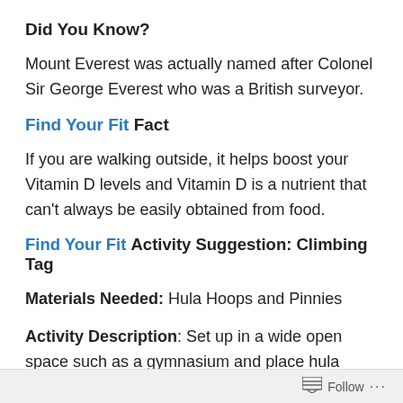Did You Know?
Mount Everest was actually named after Colonel Sir George Everest who was a British surveyor.
Find Your Fit Fact
If you are walking outside, it helps boost your Vitamin D levels and Vitamin D is a nutrient that can’t always be easily obtained from food.
Find Your Fit Activity Suggestion: Climbing Tag
Materials Needed: Hula Hoops and Pinnies
Activity Description: Set up in a wide open space such as a gymnasium and place hula hoops in various areas
Follow ...